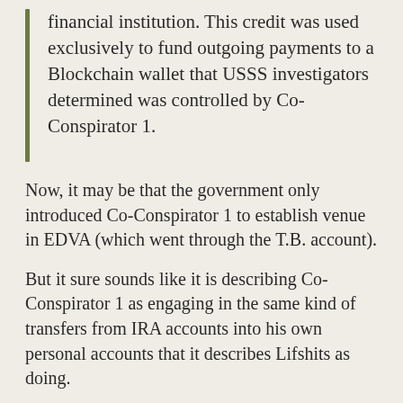financial institution. This credit was used exclusively to fund outgoing payments to a Blockchain wallet that USSS investigators determined was controlled by Co-Conspirator 1.
Now, it may be that the government only introduced Co-Conspirator 1 to establish venue in EDVA (which went through the T.B. account).
But it sure sounds like it is describing Co-Conspirator 1 as engaging in the same kind of transfers from IRA accounts into his own personal accounts that it describes Lifshits as doing.
Perhaps stealing from the troll till is considered part of their official compensation (elsewhere, the